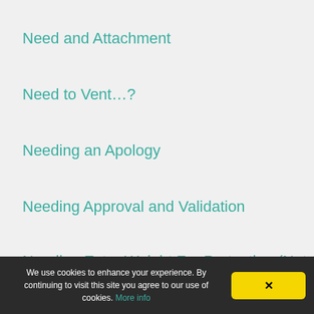Need and Attachment
Need to Vent…?
Needing an Apology
Needing Approval and Validation
Needing Extra Weight For Protection (Not Safe t
Needing Others to be Perfect
We use cookies to enhance your experience. By continuing to visit this site you agree to our use of cookies. More info